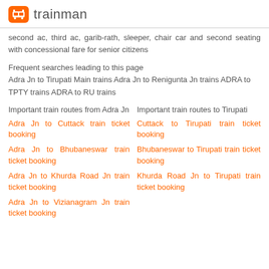trainman
second ac, third ac, garib-rath, sleeper, chair car and second seating with concessional fare for senior citizens
Frequent searches leading to this page
Adra Jn to Tirupati Main trains Adra Jn to Renigunta Jn trains ADRA to TPTY trains ADRA to RU trains
Important train routes from Adra Jn
Important train routes to Tirupati
Adra Jn to Cuttack train ticket booking
Cuttack to Tirupati train ticket booking
Adra Jn to Bhubaneswar train ticket booking
Bhubaneswar to Tirupati train ticket booking
Adra Jn to Khurda Road Jn train ticket booking
Khurda Road Jn to Tirupati train ticket booking
Adra Jn to Vizianagram Jn train ticket booking